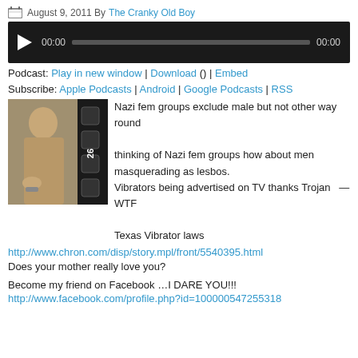August 9, 2011 By The Cranky Old Boy
[Figure (screenshot): Audio podcast player with dark background, play button, progress bar showing 00:00 timestamps]
Podcast: Play in new window | Download () | Embed
Subscribe: Apple Podcasts | Android | Google Podcasts | RSS
[Figure (photo): Sepia-toned image of a person beside a film strip with number 26 visible]
Nazi fem groups exclude male but not other way round
thinking of Nazi fem groups how about men masquerading as lesbos.
Vibrators being advertised on TV thanks Trojan  — WTF

Texas Vibrator laws
http://www.chron.com/disp/story.mpl/front/5540395.html
Does your mother really love you?
Become my friend on Facebook …I DARE YOU!!!
http://www.facebook.com/profile.php?id=100000547255318